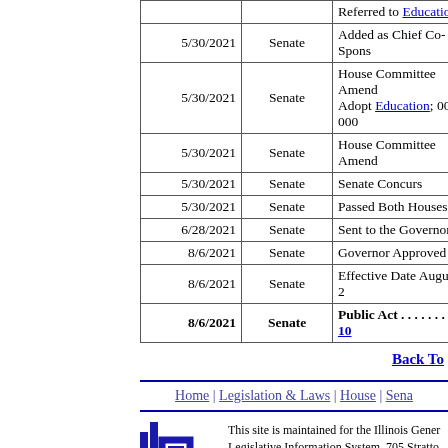| Date | Chamber | Action |
| --- | --- | --- |
|  |  | Referred to Education |
| 5/30/2021 | Senate | Added as Chief Co-Spons... |
| 5/30/2021 | Senate | House Committee Amend... Adopt Education; 009-000... |
| 5/30/2021 | Senate | House Committee Amend... |
| 5/30/2021 | Senate | Senate Concurs |
| 5/30/2021 | Senate | Passed Both Houses |
| 6/28/2021 | Senate | Sent to the Governor |
| 8/6/2021 | Senate | Governor Approved |
| 8/6/2021 | Senate | Effective Date August 6, 2... |
| 8/6/2021 | Senate | Public Act . . . . . . . . . . 10... |
Back To
Home | Legislation & Laws | House | Sena...
This site is maintained for the Illinois Gener... Legislative Information System, 705 Stratto... 217-782-3944   217-782-2050 (TTY)